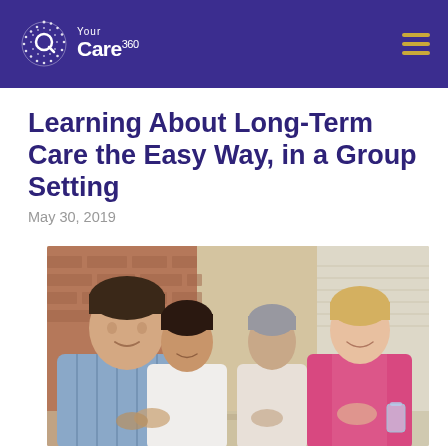YourCare360
Learning About Long-Term Care the Easy Way, in a Group Setting
May 30, 2019
[Figure (photo): Four people sitting at a table in a group setting, applauding. A young man in a blue striped shirt is in the foreground, with a woman in a white top, an older man, and a woman in a pink top in the background.]